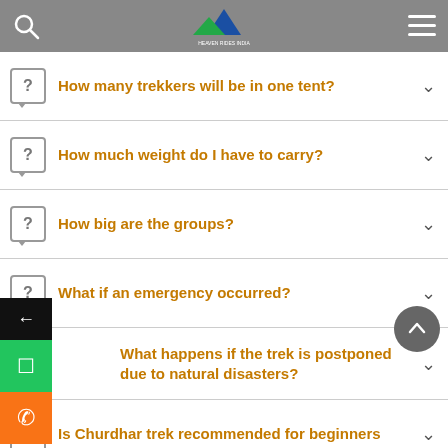Header with search, logo, and menu
How many trekkers will be in one tent?
How much weight do I have to carry?
How big are the groups?
What if an emergency occurred?
What happens if the trek is postponed due to natural disasters?
Is Churdhar trek recommended for beginners